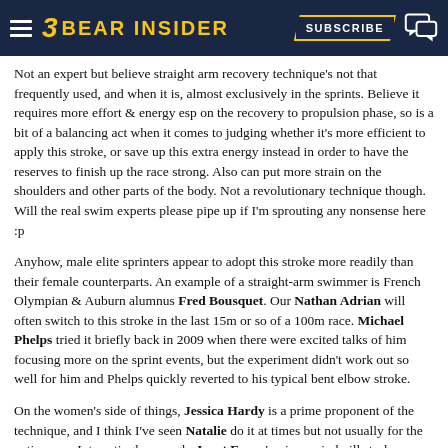BEAR INSIDER
Not an expert but believe straight arm recovery technique's not that frequently used, and when it is, almost exclusively in the sprints. Believe it requires more effort & energy esp on the recovery to propulsion phase, so is a bit of a balancing act when it comes to judging whether it's more efficient to apply this stroke, or save up this extra energy instead in order to have the reserves to finish up the race strong. Also can put more strain on the shoulders and other parts of the body. Not a revolutionary technique though. Will the real swim experts please pipe up if I'm sprouting any nonsense here :p
Anyhow, male elite sprinters appear to adopt this stroke more readily than their female counterparts. An example of a straight-arm swimmer is French Olympian & Auburn alumnus Fred Bousquet. Our Nathan Adrian will often switch to this stroke in the last 15m or so of a 100m race. Michael Phelps tried it briefly back in 2009 when there were excited talks of him focusing more on the sprint events, but the experiment didn't work out so well for him and Phelps quickly reverted to his typical bent elbow stroke.
On the women's side of things, Jessica Hardy is a prime proponent of the technique, and I think I've seen Natalie do it at times but not usually for the entire race. Interestingly enough, Janet Evans' unique windmill stroke seems to have been a variant of the straight-arm recovery, albeit a distance swimmer, not a sprinter.